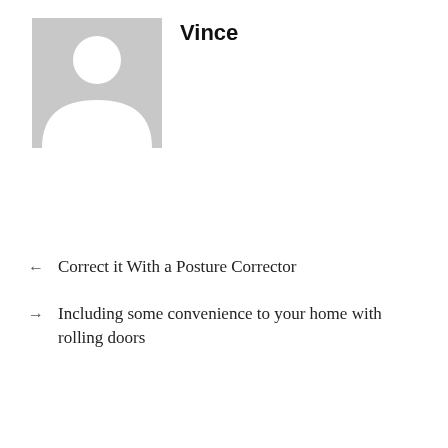[Figure (illustration): Generic grey placeholder avatar with white silhouette of a person (head circle and shoulder shape)]
Vince
← Correct it With a Posture Corrector
→ Including some convenience to your home with rolling doors